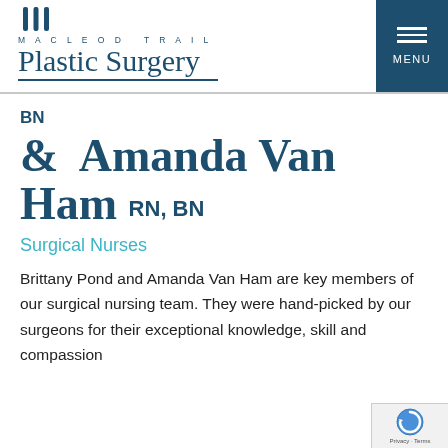MACLEOD TRAIL Plastic Surgery
BN
& Amanda Van Ham RN, BN
Surgical Nurses
Brittany Pond and Amanda Van Ham are key members of our surgical nursing team. They were hand-picked by our surgeons for their exceptional knowledge, skill and compassion